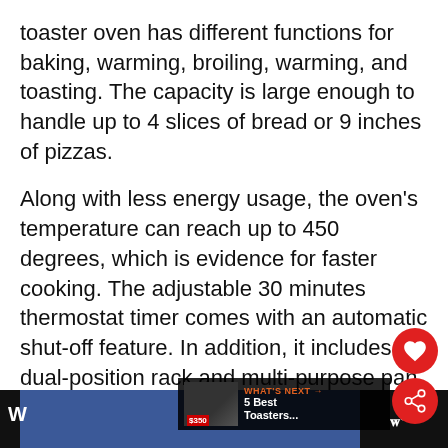toaster oven has different functions for baking, warming, broiling, warming, and toasting. The capacity is large enough to handle up to 4 slices of bread or 9 inches of pizzas.
Along with less energy usage, the oven's temperature can reach up to 450 degrees, which is evidence for faster cooking. The adjustable 30 minutes thermostat timer comes with an automatic shut-off feature. In addition, it includes a dual-position rack and multi-purpose pan. Everything you need to make quality and tasty toasts at home, this toaster offers you all for a reasonable price.
[Figure (screenshot): UI overlay elements: a red heart icon button, a red share icon button, and a 'WHAT'S NEXT' panel showing '5 Best Toasters...' with a thumbnail]
[Figure (screenshot): Footer bar with dark background, blue rectangle on the left, partial 'W' letter on the left side, and a weather/signal icon on the right]